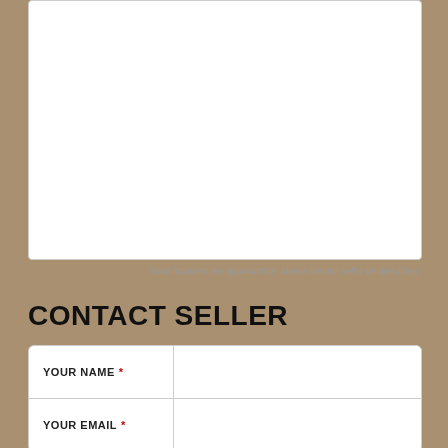[Figure (map): Map area showing property location (white/blank area representing a map embed)]
(map locations are approximate, please contact seller for directions)
CONTACT SELLER
| Field | Input |
| --- | --- |
| YOUR NAME * |  |
| YOUR EMAIL * |  |